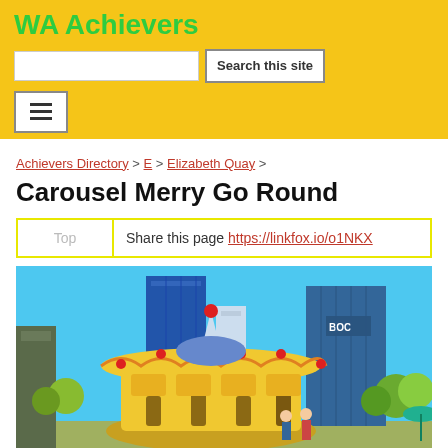WA Achievers
Search this site
Achievers Directory > E > Elizabeth Quay >
Carousel Merry Go Round
| Top | Share this page https://linkfox.io/o1NKX |
[Figure (photo): A colorful carousel merry-go-round at Elizabeth Quay, Perth, with blue sky and city skyscrapers including a BOC building in the background, surrounded by trees.]